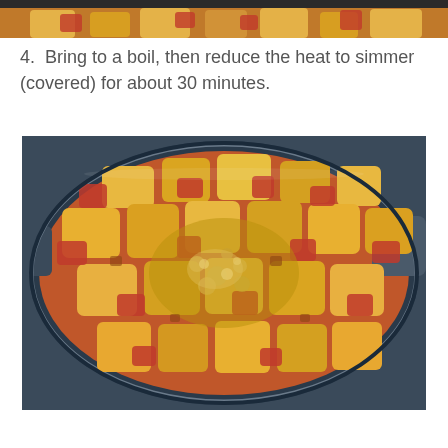[Figure (photo): Top portion of a cooking pot with chopped vegetables simmering in orange-red liquid, cropped at top of page]
4.  Bring to a boil, then reduce the heat to simmer (covered) for about 30 minutes.
[Figure (photo): A dark blue/grey cooking pot viewed from above containing chopped vegetables (potatoes, tomatoes, carrots) boiling in orange-red liquid broth]